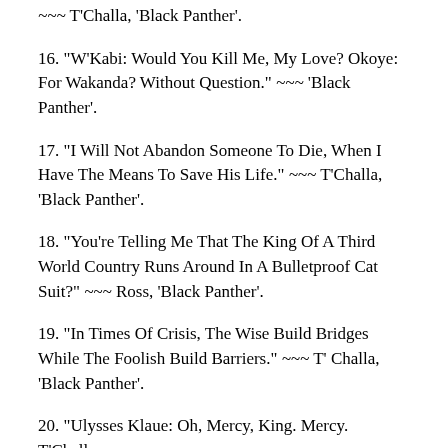~~~ T'Challa, 'Black Panther'.
16. “W’Kabi: Would You Kill Me, My Love? Okoye: For Wakanda? Without Question.” ~~~ ‘Black Panther’.
17. “I Will Not Abandon Someone To Die, When I Have The Means To Save His Life.” ~~~ T’Challa, ‘Black Panther’.
18. “You’re Telling Me That The King Of A Third World Country Runs Around In A Bulletproof Cat Suit?” ~~~ Ross, ‘Black Panther’.
19. “In Times Of Crisis, The Wise Build Bridges While The Foolish Build Barriers.” ~~~ T’ Challa, ‘Black Panther’.
20. “Ulysses Klaue: Oh, Mercy, King. Mercy. T’Challa: